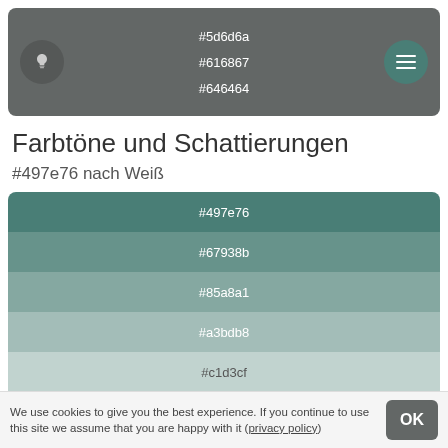#5d6d6a
#616867
#646464
Farbtöne und Schattierungen
#497e76 nach Weiß
[Figure (infographic): Color swatches showing tints from #497e76 to white: #497e76, #67938b, #85a8a1, #a3bdb8, #c1d3cf, #e0e9e7]
We use cookies to give you the best experience. If you continue to use this site we assume that you are happy with it (privacy policy)